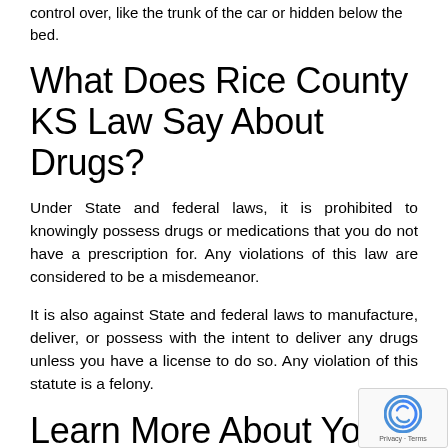control over, like the trunk of the car or hidden below the bed.
What Does Rice County KS Law Say About Drugs?
Under State and federal laws, it is prohibited to knowingly possess drugs or medications that you do not have a prescription for. Any violations of this law are considered to be a misdemeanor.
It is also against State and federal laws to manufacture, deliver, or possess with the intent to deliver any drugs unless you have a license to do so. Any violation of this statute is a felony.
Learn More About Your Next Steps From Our Rice County KS Heroin Lawyer